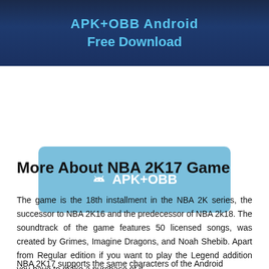[Figure (screenshot): Dark blue banner with cyan text reading 'APK+OBB Android Free Download']
[Figure (screenshot): Light blue rounded button with Android icon and text 'APK+OBB']
More About NBA 2K17 Game
The game is the 18th installment in the NBA 2K series, the successor to NBA 2K16 and the predecessor of NBA 2k18. The soundtrack of the game features 50 licensed songs, was created by Grimes, Imagine Dragons, and Noah Shebib. Apart from Regular edition if you want to play the Legend addition you have to make a purchase of it.
NBA 2K17 supports the same characters of the Android...